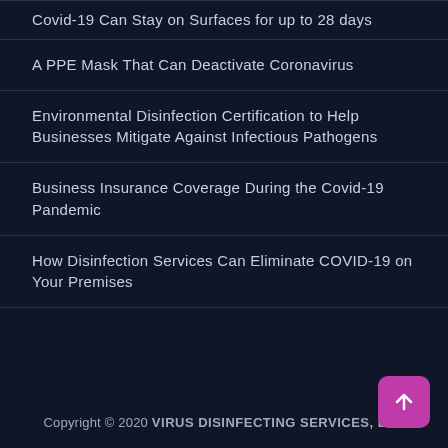Covid-19 Can Stay on Surfaces for up to 28 days
A PPE Mask That Can Deactivate Coronavirus
Environmental Disinfection Certification to Help Businesses Mitigate Against Infectious Pathogens
Business Insurance Coverage During the Covid-19 Pandemic
How Disinfection Services Can Eliminate COVID-19 on Your Premises
Copyright © 2020 VIRUS DISINFECTING SERVICES, LLC